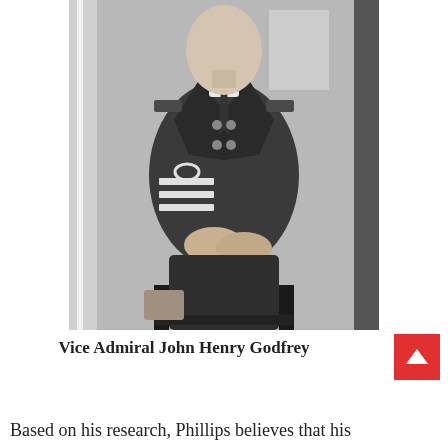[Figure (photo): Black and white photograph of Vice Admiral John Henry Godfrey seated in a chair, wearing a naval uniform with rank stripes on the sleeve, hands folded in lap.]
Vice Admiral John Henry Godfrey
Based on his research, Phillips believes that his